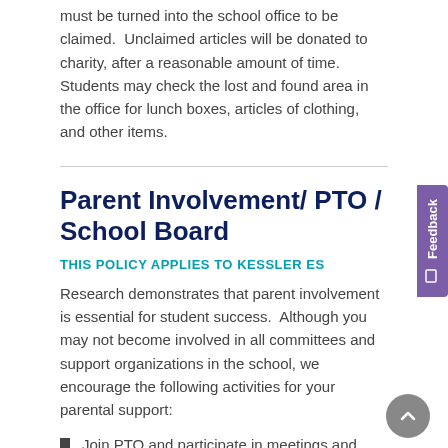must be turned into the school office to be claimed. Unclaimed articles will be donated to charity, after a reasonable amount of time. Students may check the lost and found area in the office for lunch boxes, articles of clothing, and other items.
Parent Involvement/ PTO / School Board
THIS POLICY APPLIES TO KESSLER ES
Research demonstrates that parent involvement is essential for student success. Although you may not become involved in all committees and support organizations in the school, we encourage the following activities for your parental support:
Join PTO and participate in meetings and activities.
Have lunch at school with your child regularly.
Volunteer in your child's classroom.